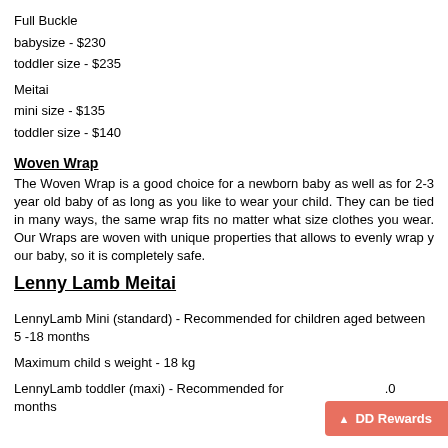Full Buckle
babysize - $230
toddler size - $235
Meitai
mini size - $135
toddler size - $140
Woven Wrap
The Woven Wrap is a good choice for a newborn baby as well as for 2-3 year old baby of as long as you like to wear your child. They can be tied in many ways, the same wrap fits no matter what size clothes you wear. Our Wraps are woven with unique properties that allows to evenly wrap y our baby, so it is completely safe.
Lenny Lamb Meitai
LennyLamb Mini (standard) - Recommended for children aged between 5 -18 months
Maximum child s weight - 18 kg
LennyLamb toddler (maxi) - Recommended for .0 months